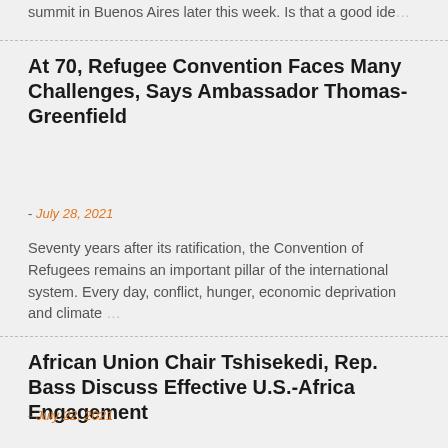summit in Buenos Aires later this week. Is that a good ide…
At 70, Refugee Convention Faces Many Challenges, Says Ambassador Thomas-Greenfield
- July 28, 2021
Seventy years after its ratification, the Convention of Refugees remains an important pillar of the international system. Every day, conflict, hunger, economic deprivation and climate …
African Union Chair Tshisekedi, Rep. Bass Discuss Effective U.S.-Africa Engagement
- July 22, 2021
Despite the many challenges facing the continent, "Africa is not … defined by poverty, misery and violence," said Félix